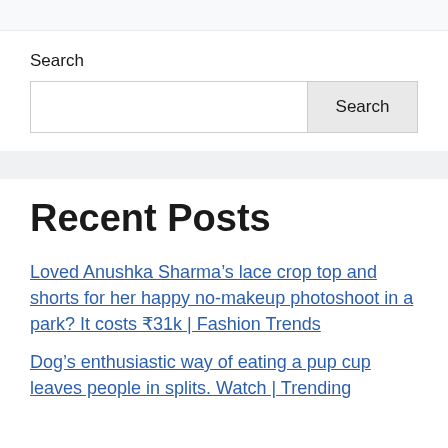Search
Search [input field] Search [button]
Recent Posts
Loved Anushka Sharma’s lace crop top and shorts for her happy no-makeup photoshoot in a park? It costs ₹31k | Fashion Trends
Dog’s enthusiastic way of eating a pup cup leaves people in splits. Watch | Trending